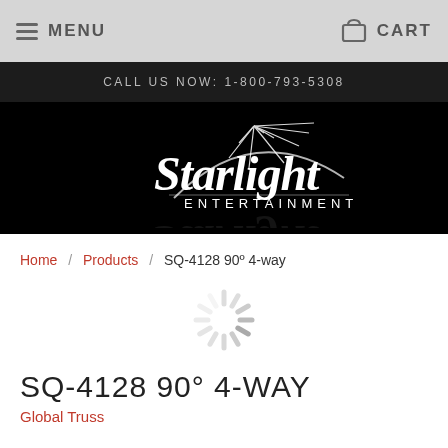MENU    CART
CALL US NOW: 1-800-793-5308
[Figure (logo): Starlight Entertainment logo — stylized script 'Starlight' with star rays and 'ENTERTAINMENT' subtitle, white on black background]
Home / Products / SQ-4128 90º 4-way
[Figure (other): Loading spinner graphic — light gray spokes in a circle on white background]
SQ-4128 90° 4-WAY
Global Truss